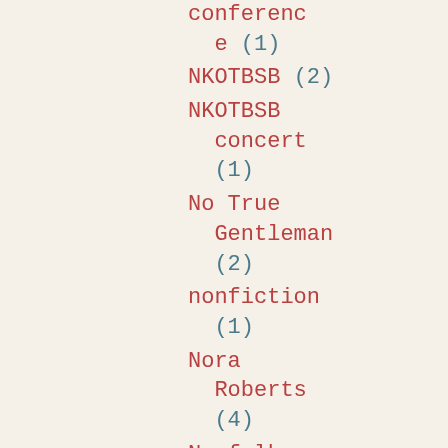conference (1)
NKOTBSB (2)
NKOTBSB concert (1)
No True Gentleman (2)
nonfiction (1)
Nora Roberts (4)
Norfolk Island Pine plant (1)